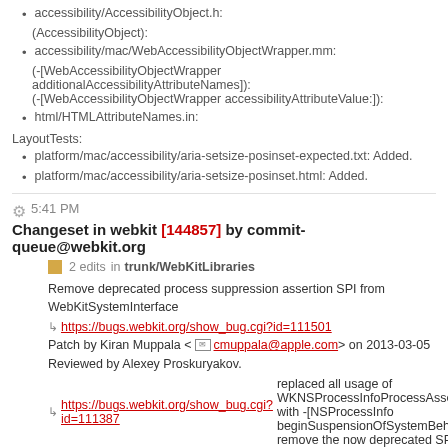accessibility/AccessibilityObject.h:
(AccessibilityObject):
accessibility/mac/WebAccessibilityObjectWrapper.mm:
(-[WebAccessibilityObjectWrapper additionalAccessibilityAttributeNames]): (-[WebAccessibilityObjectWrapper accessibilityAttributeValue:]):
html/HTMLAttributeNames.in:
LayoutTests:
platform/mac/accessibility/aria-setsize-posinset-expected.txt: Added.
platform/mac/accessibility/aria-setsize-posinset.html: Added.
5:41 PM Changeset in webkit [144857] by commit-queue@webkit.org
2 edits in trunk/WebKitLibraries
Remove deprecated process suppression assertion SPI from WebKitSystemInterface
https://bugs.webkit.org/show_bug.cgi?id=111501
Patch by Kiran Muppala <cmuppala@apple.com> on 2013-03-05 Reviewed by Alexey Proskuryakov.
https://bugs.webkit.org/show_bug.cgi?id=111387 replaced all usage of WKNSProcessInfoProcessAssertionWithTypes() with -[NSProcessInfo beginSuspensionOfSystemBehaviors:]. Hence, remove the now deprecated SPI.